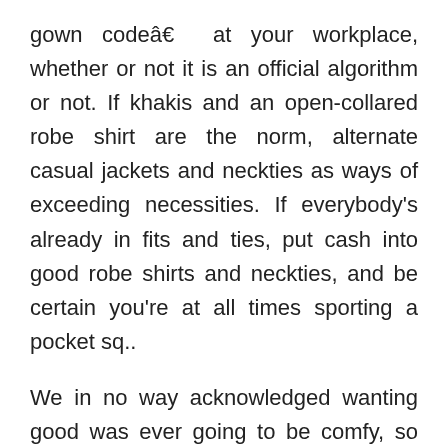gown codeâ€ at your workplace, whether or not it is an official algorithm or not. If khakis and an open-collared robe shirt are the norm, alternate casual jackets and neckties as ways of exceeding necessities. If everybody's already in fits and ties, put cash into good robe shirts and neckties, and be certain you're at all times sporting a pocket sq..
We in no way acknowledged wanting good was ever going to be comfy, so don't attempt to break the foundations by sporting runners together along with your work swimsuit. The most typical offender of this fashion sin is city office employee. All too typically we see these 'atmosphere pleasant' people donning a pair of Brooks and heading to the tram or prepare. Dress to kill, to not out-run Ussain Bolt. I'm a fan of ...